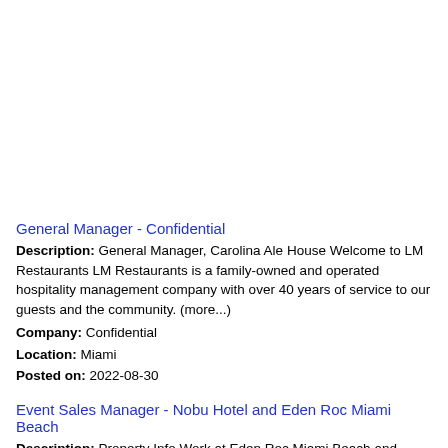General Manager - Confidential
Description: General Manager, Carolina Ale House Welcome to LM Restaurants LM Restaurants is a family-owned and operated hospitality management company with over 40 years of service to our guests and the community. (more...)
Company: Confidential
Location: Miami
Posted on: 2022-08-30
Event Sales Manager - Nobu Hotel and Eden Roc Miami Beach
Description: Property Info Work at Eden Roc Miami Beach and Nobu Hotel The primary qualification for any position at Eden Roc Hotel Miami Beach and Nobu Hotel is passion. Every staff...